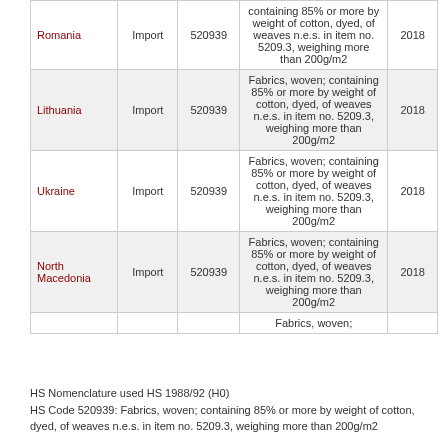| Country | Flow | HS Code | Description | Year |
| --- | --- | --- | --- | --- |
| Romania | Import | 520939 | Fabrics, woven; containing 85% or more by weight of cotton, dyed, of weaves n.e.s. in item no. 5209.3, weighing more than 200g/m2 | 2018 |
| Lithuania | Import | 520939 | Fabrics, woven; containing 85% or more by weight of cotton, dyed, of weaves n.e.s. in item no. 5209.3, weighing more than 200g/m2 | 2018 |
| Ukraine | Import | 520939 | Fabrics, woven; containing 85% or more by weight of cotton, dyed, of weaves n.e.s. in item no. 5209.3, weighing more than 200g/m2 | 2018 |
| North Macedonia | Import | 520939 | Fabrics, woven; containing 85% or more by weight of cotton, dyed, of weaves n.e.s. in item no. 5209.3, weighing more than 200g/m2 | 2018 |
|  |  |  | Fabrics, woven; |  |
HS Nomenclature used HS 1988/92 (H0)
HS Code 520939: Fabrics, woven; containing 85% or more by weight of cotton, dyed, of weaves n.e.s. in item no. 5209.3, weighing more than 200g/m2